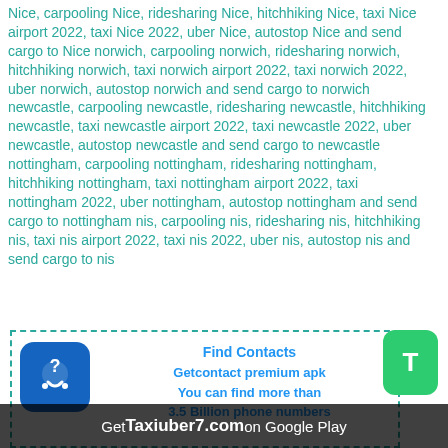Nice, carpooling Nice, ridesharing Nice, hitchhiking Nice, taxi Nice airport 2022, taxi Nice 2022, uber Nice, autostop Nice and send cargo to Nice norwich, carpooling norwich, ridesharing norwich, hitchhiking norwich, taxi norwich airport 2022, taxi norwich 2022, uber norwich, autostop norwich and send cargo to norwich newcastle, carpooling newcastle, ridesharing newcastle, hitchhiking newcastle, taxi newcastle airport 2022, taxi newcastle 2022, uber newcastle, autostop newcastle and send cargo to newcastle nottingham, carpooling nottingham, ridesharing nottingham, hitchhiking nottingham, taxi nottingham airport 2022, taxi nottingham 2022, uber nottingham, autostop nottingham and send cargo to nottingham nis, carpooling nis, ridesharing nis, hitchhiking nis, taxi nis airport 2022, taxi nis 2022, uber nis, autostop nis and send cargo to nis
[Figure (other): Advertisement box with dashed border. Contains a blue app icon with phone and question mark, text 'Find Contacts Getcontact premium apk You can find more than 3.5 Billion phone numbers', and a green T button on the right.]
Get Taxiuber7.com on Google Play